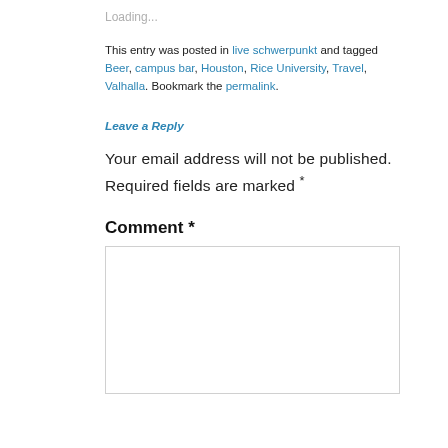Loading...
This entry was posted in live schwerpunkt and tagged Beer, campus bar, Houston, Rice University, Travel, Valhalla. Bookmark the permalink.
Leave a Reply
Your email address will not be published. Required fields are marked *
Comment *